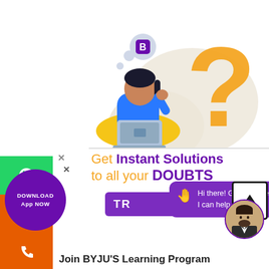[Figure (illustration): Person sitting cross-legged with laptop, BYJU'S logo thought bubble, large gold question mark in background, beige blob shapes]
Get Instant Solutions to all your DOUBTS
[Figure (screenshot): TRY button (purple) partially visible, chat bubble overlay saying 'Hi there! Got any questions? I can help you...', scroll-to-top button]
[Figure (infographic): Left sidebar with WhatsApp (green), Share (orange), Phone (orange) icons; X close button]
[Figure (logo): DOWNLOAD App NOW purple circular badge with X close button]
[Figure (photo): Small circular avatar photo of a man in suit]
Join BYJU'S Learning Program